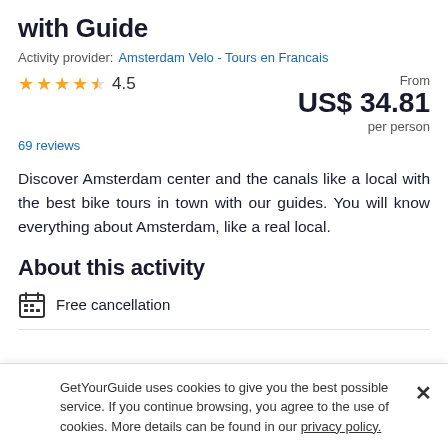with Guide
Activity provider:  Amsterdam Velo - Tours en Francais
★★★★½ 4.5   From US$ 34.81 per person
69 reviews
Discover Amsterdam center and the canals like a local with the best bike tours in town with our guides. You will know everything about Amsterdam, like a real local.
About this activity
Free cancellation
GetYourGuide uses cookies to give you the best possible service. If you continue browsing, you agree to the use of cookies. More details can be found in our privacy policy.